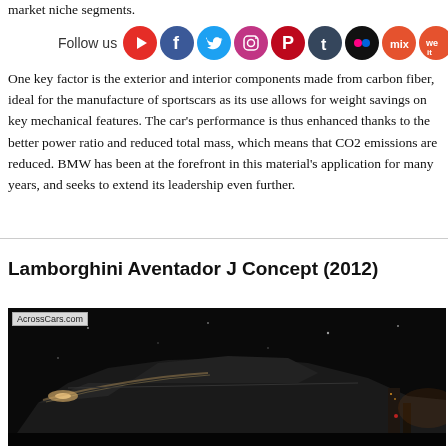market niche segments.
[Figure (infographic): Social media follow bar with icons for YouTube, Facebook, Twitter, Instagram, Pinterest, Tumblr, Flickr, Mix, and WeHeartIt]
One key factor is the exterior and interior components made from carbon fiber, ideal for the manufacture of sportscars as its use allows for weight savings on key mechanical features. The car's performance is thus enhanced thanks to the better power ratio and reduced total mass, which means that CO2 emissions are reduced. BMW has been at the forefront in this material's application for many years, and seeks to extend its leadership even further.
Lamborghini Aventador J Concept (2012)
[Figure (photo): Night photograph of Lamborghini Aventador J Concept car against dark sky background with city lights, watermarked AcrossCars.com]